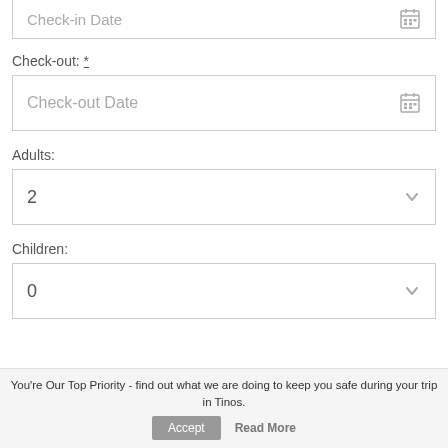Check-in Date
Check-out: *
Check-out Date
Adults:
2
Children:
0
You're Our Top Priority - find out what we are doing to keep you safe during your trip in Tinos.